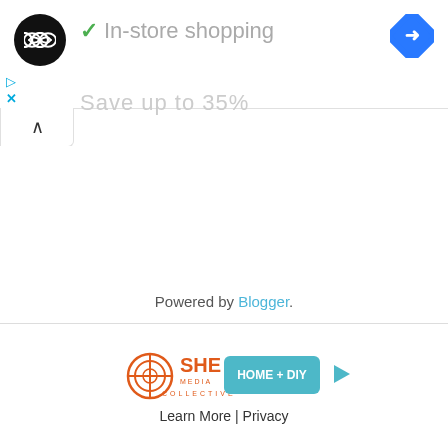[Figure (logo): Black circular logo with double infinity/loop symbol in white]
✓ In-store shopping
[Figure (logo): Blue diamond-shaped Google Maps navigation icon with white arrow]
Save up to 35%
Powered by Blogger.
[Figure (logo): SHE Media Collective HOME + DIY advertisement banner with play button]
Learn More | Privacy